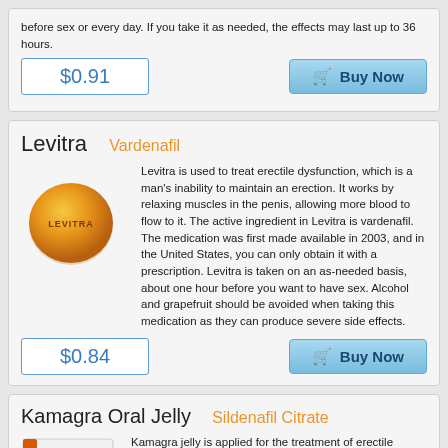before sex or every day. If you take it as needed, the effects may last up to 36 hours.
$0.91
Buy Now
Levitra Vardenafil
[Figure (photo): Orange round Levitra pill with LEVITRA text imprinted]
Levitra is used to treat erectile dysfunction, which is a man's inability to maintain an erection. It works by relaxing muscles in the penis, allowing more blood to flow to it. The active ingredient in Levitra is vardenafil. The medication was first made available in 2003, and in the United States, you can only obtain it with a prescription. Levitra is taken on an as-needed basis, about one hour before you want to have sex. Alcohol and grapefruit should be avoided when taking this medication as they can produce severe side effects.
$0.84
Buy Now
Kamagra Oral Jelly Sildenafil Citrate
[Figure (photo): Kamagra 100mg Oral Jelly packet box]
Kamagra jelly is applied for the treatment of erectile dysfunction in men and pulmonary arterial